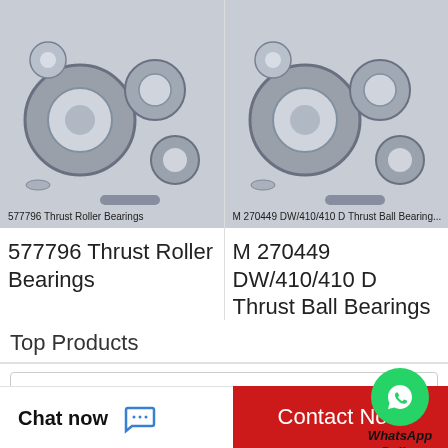[Figure (photo): Photo of 577796 Thrust Roller Bearings — various bearing components on grey background]
577796 Thrust Roller Bearings
577796 Thrust Roller Bearings
[Figure (photo): Photo of M 270449 DW/410/410 D Thrust Ball Bearings — various bearing components on grey background]
M 270449 DW/410/410 D Thrust Ball Bearings
M 270449 DW/410/410 D Thrust Ball Bearings
Top Products
REXNORD ZAFS6315F Pillow Block Bearings
LINK BELT KPSS219 Pillow Block Bearings
AMI BLX2W Mounted Units & Inserts
[Figure (illustration): WhatsApp green circle icon with phone symbol, labeled WhatsApp Online]
WhatsApp Online
Chat now
Contact Now